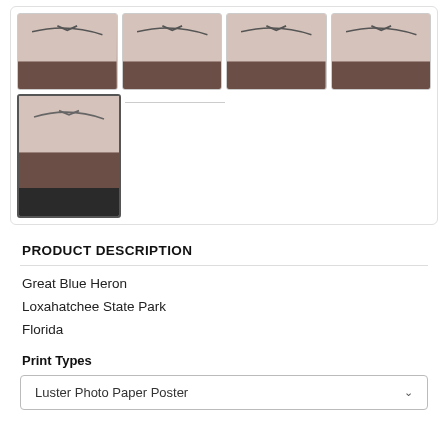[Figure (photo): Gallery of product thumbnails showing a Great Blue Heron poster held by a person, displayed in 5 thumbnail views of varying sizes. Top row has 4 thumbnails, second row has 1 large selected thumbnail and a placeholder/divider.]
PRODUCT DESCRIPTION
Great Blue Heron
Loxahatchee State Park
Florida
Print Types
Luster Photo Paper Poster